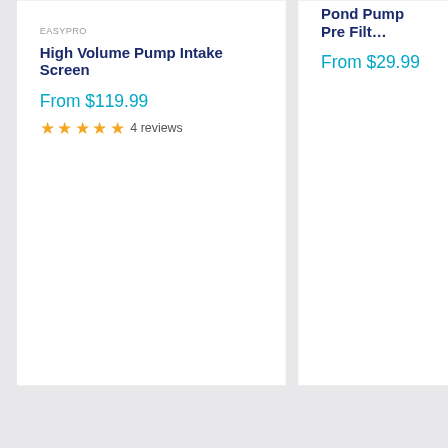EASYPRO
High Volume Pump Intake Screen
From $119.99
4 reviews
Pond Pump Pre Filt…
From $29.99